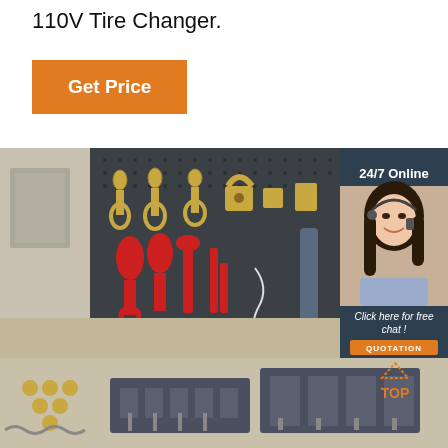110V Tire Changer.
Get Price
[Figure (photo): Photo of a tool pegboard display with various metallic and red-painted tools including hooks, clamps, wrenches, and equipment organized on a dark board, with industrial equipment and machinery visible in the background and foreground.]
[Figure (photo): Customer service representative: woman with headset smiling, with '24/7 Online' label and 'Click here for free chat!' and 'QUOTATION' button on dark blue panel.]
24/7 Online
Click here for free chat !
QUOTATION
[Figure (photo): Bottom section showing additional tools and machinery components including metal hardware, brackets, and equipment parts on a concrete floor background.]
TOP